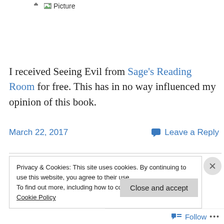[Figure (other): Broken image placeholder showing 'Picture' text with small icon]
I received Seeing Evil from Sage's Reading Room for free. This has in no way influenced my opinion of this book.
March 22, 2017    💬 Leave a Reply
Privacy & Cookies: This site uses cookies. By continuing to use this website, you agree to their use.
To find out more, including how to control cookies, see here: Cookie Policy
Close and accept
Follow